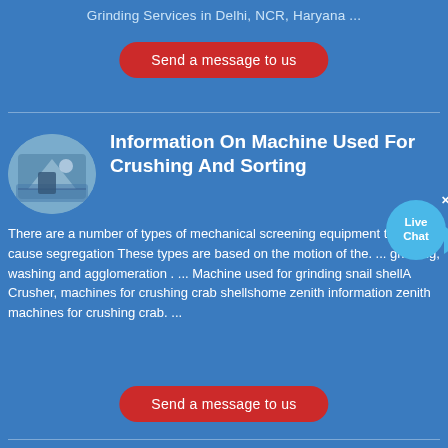Grinding Services in Delhi, NCR, Haryana ...
Send a message to us
Information On Machine Used For Crushing And Sorting
There are a number of types of mechanical screening equipment that cause segregation These types are based on the motion of the. ... grinding, washing and agglomeration . ... Machine used for grinding snail shellA Crusher, machines for crushing crab shellshome zenith information zenith machines for crushing crab. ...
Send a message to us